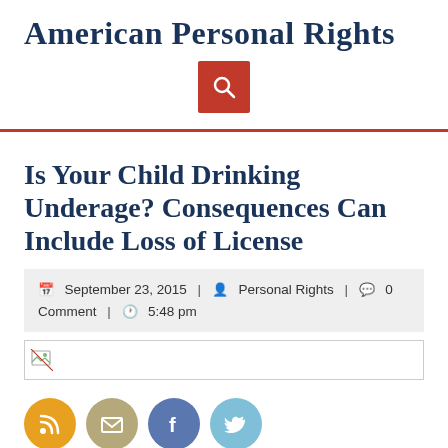American Personal Rights
[Figure (other): Red search button with magnifying glass icon]
Is Your Child Drinking Underage? Consequences Can Include Loss of License
September 23, 2015 | Personal Rights | 0 Comment | 5:48 pm
[Figure (other): Broken image placeholder]
[Figure (other): Social media icons: RSS (orange), Email (tan), Facebook (blue), Twitter (light blue)]